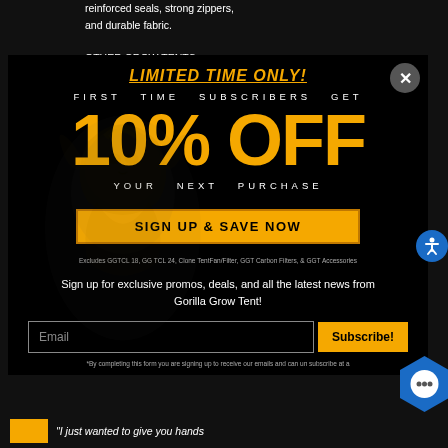reinforced seals, strong zippers, and durable fabric.
OTHER GROW TENTS use fragile plastic, aluminum, or at
LIMITED TIME ONLY!
FIRST TIME SUBSCRIBERS GET
10% OFF
YOUR NEXT PURCHASE
SIGN UP & SAVE NOW
Excludes GGTCL 18, GG TCL 24, Clone Tent Fan/Filter, GGT Carbon Filters, & GGT Accessories
Sign up for exclusive promos, deals, and all the latest news from Gorilla Grow Tent!
Email
Subscribe!
*By completing this form you are signing up to receive our emails and can un subscribe at a
"I just wanted to give you hands